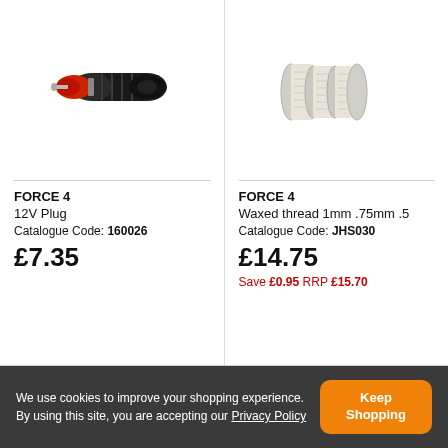[Figure (photo): 12V car plug with black body and red tip]
FORCE 4
12V Plug
Catalogue Code: 160026
£7.35
[Figure (photo): Waxed thread spool, light cream/white color]
FORCE 4
Waxed thread 1mm .75mm .5
Catalogue Code: JHS030
£14.75
Save £0.95 RRP £15.70
We use cookies to improve your shopping experience. By using this site, you are accepting our Privacy Policy